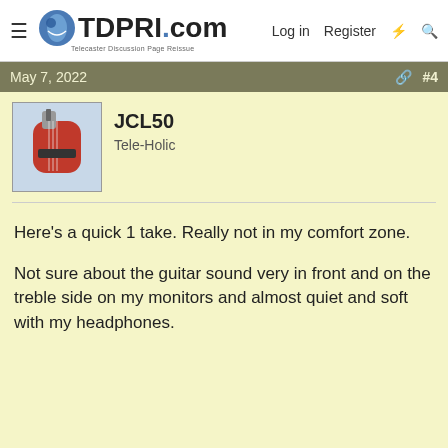TDPRI.com — Telecaster Discussion Page Reissue | Log in | Register
May 7, 2022   #4
JCL50
Tele-Holic
Here's a quick 1 take. Really not in my comfort zone.

Not sure about the guitar sound very in front and on the treble side on my monitors and almost quiet and soft with my headphones.